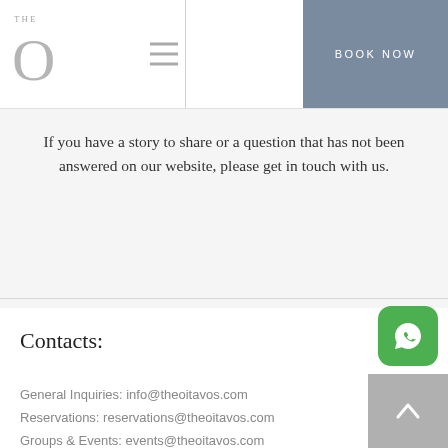THE O | BOOK NOW
If you have a story to share or a question that has not been answered on our website, please get in touch with us.
Contacts:
General Inquiries: info@theoitavos.com
Reservations: reservations@theoitavos.com
Groups & Events: events@theoitavos.com
[Figure (illustration): WhatsApp icon button (green rounded square with white phone/chat icon)]
[Figure (illustration): Scroll to top button (grey square with white upward chevron arrow)]